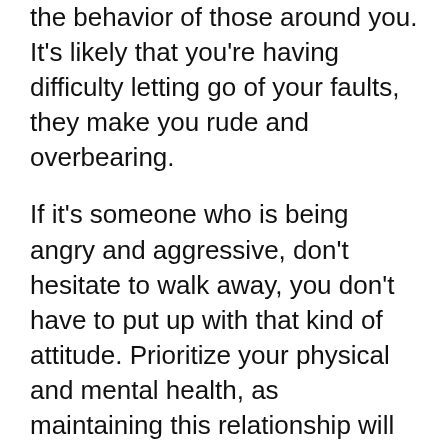the behavior of those around you. It's likely that you're having difficulty letting go of your faults, they make you rude and overbearing.
If it's someone who is being angry and aggressive, don't hesitate to walk away, you don't have to put up with that kind of attitude. Prioritize your physical and mental health, as maintaining this relationship will only harm you and bring you harm.
This dream is also indicative that you fear the death of your family members. It's important not to be overly concerned about these issues, as they can disrupt other aspects of your life. Don't think the worst, enjoy while they are alive and try to live in the present.